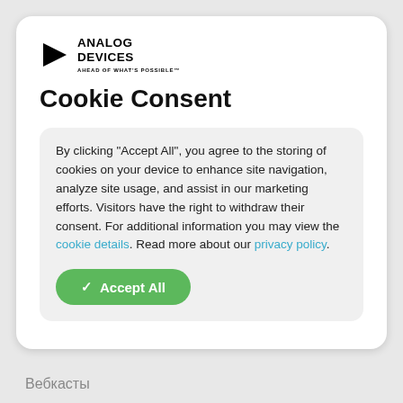[Figure (logo): Analog Devices logo with triangle icon and text 'ANALOG DEVICES' with tagline 'AHEAD OF WHAT'S POSSIBLE']
Cookie Consent
By clicking “Accept All”, you agree to the storing of cookies on your device to enhance site navigation, analyze site usage, and assist in our marketing efforts. Visitors have the right to withdraw their consent. For additional information you may view the cookie details. Read more about our privacy policy.
✓ Accept All
Вебкасты